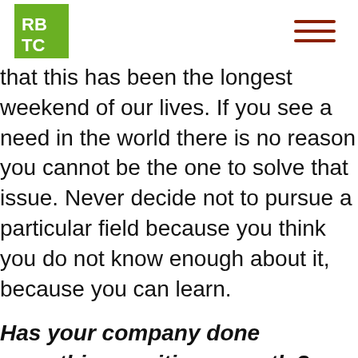RBTC
that this has been the longest weekend of our lives. If you see a need in the world there is no reason you cannot be the one to solve that issue. Never decide not to pursue a particular field because you think you do not know enough about it, because you can learn.
Has your company done something exciting recently?
Dr. Anne Brown: We are still exploring all the many channels and usability of this kind of app platform. Pretty much on almost a daily or weekly basis we learn about a different area that is interested or think they could use